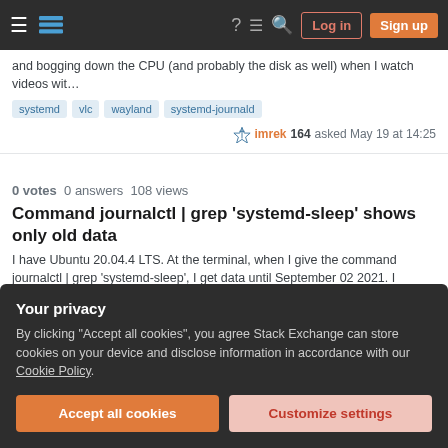Stack Exchange navigation bar with Log in and Sign up buttons
and bogging down the CPU (and probably the disk as well) when I watch videos wit…
systemd  vlc  wayland  systemd-journald
imrek 164 asked May 19 at 14:25
0 votes  0 answers  108 views
Command journalctl | grep 'systemd-sleep' shows only old data
I have Ubuntu 20.04.4 LTS. At the terminal, when I give the command journalctl | grep 'systemd-sleep', I get data until September 02 2021. I thought may be the list i…
systemd-journald  Aris Makrides 101 asked Apr 23 at 19:11
Your privacy
By clicking "Accept all cookies", you agree Stack Exchange can store cookies on your device and disclose information in accordance with our Cookie Policy.
Accept all cookies
Customize settings